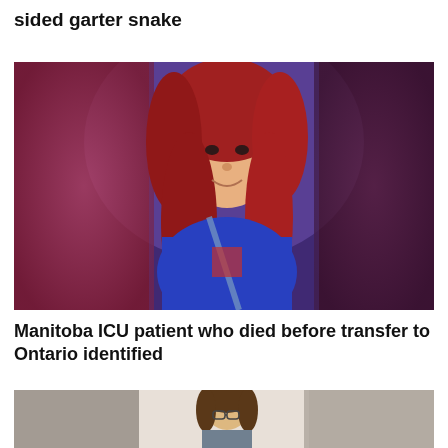sided garter snake
[Figure (photo): A woman with red hair wearing a blue jacket, smiling in a selfie taken inside a car. The background is blurred with purple/blue tones.]
Manitoba ICU patient who died before transfer to Ontario identified
[Figure (photo): Partial photo of a person with brown hair wearing glasses, visible from approximately chest up, inside an indoor setting.]